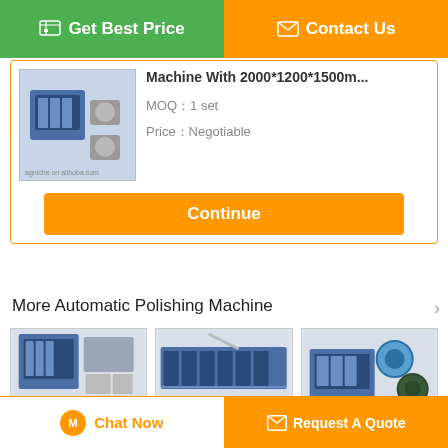Get Best Price
Contact Us
Machine With 2000*1200*1500m...
MOQ：1 set
Price：Negotiable
Continue
More  Automatic Polishing Machine
[Figure (photo): High Efficiency Automatic polishing machine product photo]
High Efficiency Automatic...
[Figure (photo): 6 Heads Automatic Buffing machine product photo]
6 Heads Automatic Buffin...
[Figure (photo): Pipe Automatic Polishing Machine product photo]
Pipe Automatic Polishing Machi...
Change Language
english
Chat Now
Request A Quote